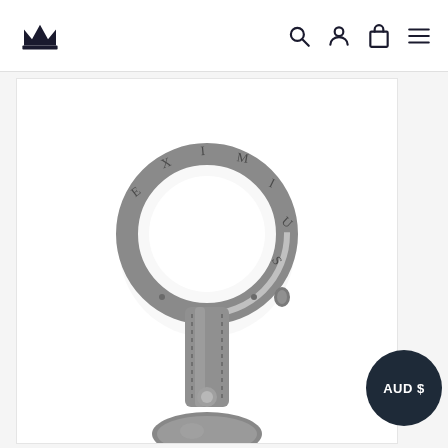EXIMIUS – Navigation bar with logo, search, account, cart, and menu icons
[Figure (photo): Close-up photo of a silver metallic carabiner keyring with the word EXIMIUS engraved around the ring, attached to a grey leather strap leading to a leather key fob on a white background]
AUD $